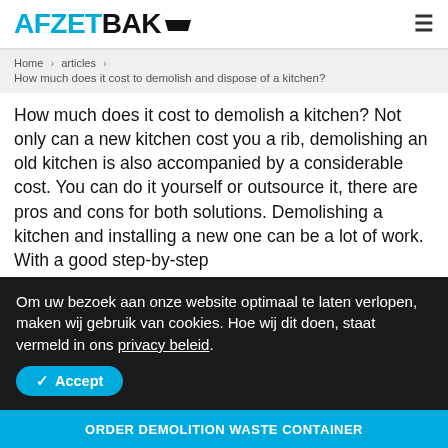AFZETBAK
Home > articles > How much does it cost to demolish and dispose of a kitchen?
How much does it cost to demolish a kitchen? Not only can a new kitchen cost you a rib, demolishing an old kitchen is also accompanied by a considerable cost. You can do it yourself or outsource it, there are pros and cons for both solutions. Demolishing a kitchen and installing a new one can be a lot of work. With a good step-by-step
Om uw bezoek aan onze website optimaal te laten verlopen, maken wij gebruik van cookies. Hoe wij dit doen, staat vermeld in ons privacy beleid.
ORDER DEMOLITION WASTE CONTAINER